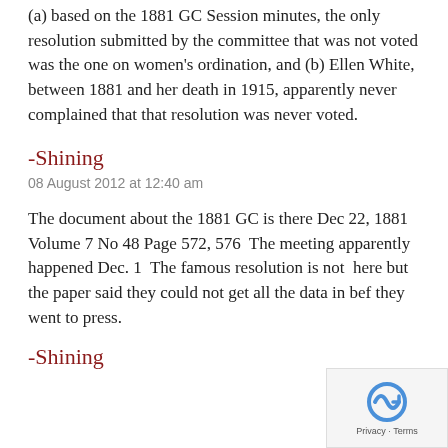(a) based on the 1881 GC Session minutes, the only resolution submitted by the committee that was not voted was the one on women's ordination, and (b) Ellen White, between 1881 and her death in 1915, apparently never complained that that resolution was never voted.
-Shining
08 August 2012 at 12:40 am
The document about the 1881 GC is there Dec 22, 1881  Volume 7 No 48 Page 572, 576  The meeting apparently happened Dec. 1  The famous resolution is not  here but the paper said they could not get all the data in bef they went to press.
-Shining